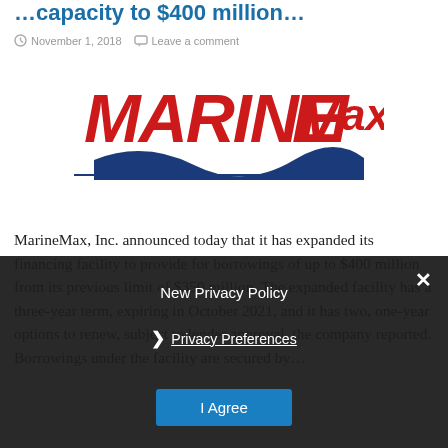…capacity to $400 million…
November 1, 2018   Leave a comment
[Figure (logo): MarineMax logo: red bold text 'MARINEMax' with a blue wave swoosh beneath it]
MarineMax, Inc. announced today that it has expanded its financing facility to provide for borrowings of up to $400 million from its previous limit of $350 million. The expanded facility has a three-year term, expiring in October 2021, and it has two, one-year options to renew, subject to lender approval, the company reported. Borrowings under the facility are secured by…
New Privacy Policy
Privacy Preferences
I Agree